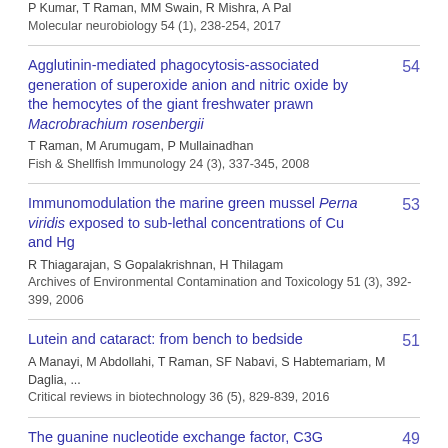P Kumar, T Raman, MM Swain, R Mishra, A Pal
Molecular neurobiology 54 (1), 238-254, 2017
Agglutinin-mediated phagocytosis-associated generation of superoxide anion and nitric oxide by the hemocytes of the giant freshwater prawn Macrobrachium rosenbergii
T Raman, M Arumugam, P Mullainadhan
Fish & Shellfish Immunology 24 (3), 337-345, 2008
54
Immunomodulation the marine green mussel Perna viridis exposed to sub-lethal concentrations of Cu and Hg
R Thiagarajan, S Gopalakrishnan, H Thilagam
Archives of Environmental Contamination and Toxicology 51 (3), 392-399, 2006
53
Lutein and cataract: from bench to bedside
A Manayi, M Abdollahi, T Raman, SF Nabavi, S Habtemariam, M Daglia, ...
Critical reviews in biotechnology 36 (5), 829-839, 2016
51
The guanine nucleotide exchange factor, C3G regulates differentiation and survival of human
49